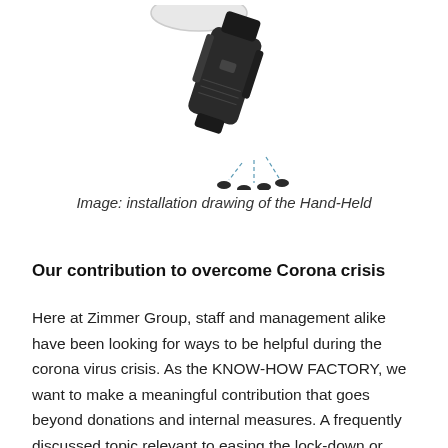[Figure (illustration): Installation drawing of a hand-held device (dark, angular handheld tool) with dashed lines indicating mounting or attachment points, shown from an angled perspective with small oval fasteners below.]
Image: installation drawing of the Hand-Held
Our contribution to overcome Corona crisis
Here at Zimmer Group, staff and management alike have been looking for ways to be helpful during the corona virus crisis. As the KNOW-HOW FACTORY, we want to make a meaningful contribution that goes beyond donations and internal measures. A frequently discussed topic relevant to easing the lock-down or removing it entirely is and remains